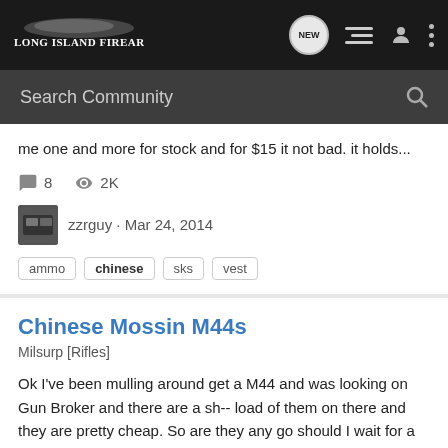Long Island Firearms
Search Community
me one and more for stock and for $15 it not bad. it holds...
8 comments · 2K views
zzrguy · Mar 24, 2014
ammo · chinese · sks · vest
Chinese Mossin M44s
Milsurp [Rifles]
Ok I've been mulling around get a M44 and was looking on Gun Broker and there are a sh-- load of them on there and they are pretty cheap. So are they any go should I wait for a Russian one are the Russian one worth the extra money.
19 comments · 2K views